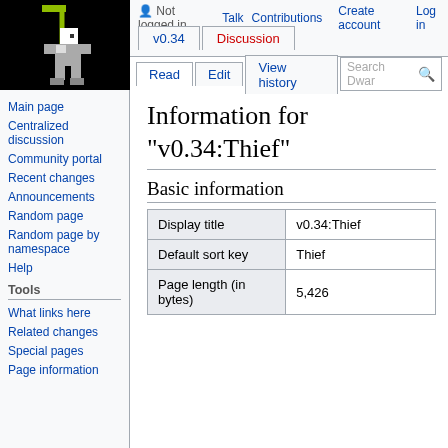[Figure (illustration): Dwarf Fortress wiki logo: pixel art of a white/grey dwarf figure swinging a pickaxe on a black background]
Not logged in  Talk  Contributions  Create account  Log in
v0.34  Discussion  Read  Edit  View history  Search Dwar
Main page
Centralized discussion
Community portal
Recent changes
Announcements
Random page
Random page by namespace
Help
Tools
What links here
Related changes
Special pages
Page information
Information for "v0.34:Thief"
Basic information
|  |  |
| --- | --- |
| Display title | v0.34:Thief |
| Default sort key | Thief |
| Page length (in bytes) | 5,426 |